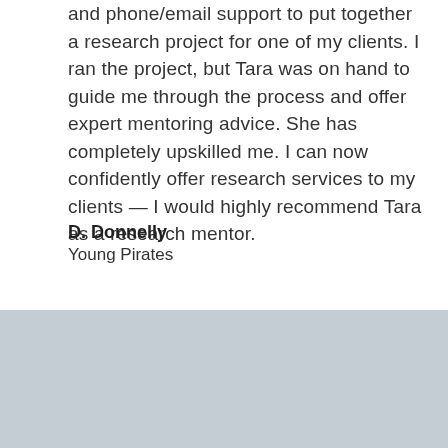and phone/email support to put together a research project for one of my clients. I ran the project, but Tara was on hand to guide me through the process and offer expert mentoring advice. She has completely upskilled me. I can now confidently offer research services to my clients — I would highly recommend Tara as a research mentor.
D. Donnelly
Young Pirates